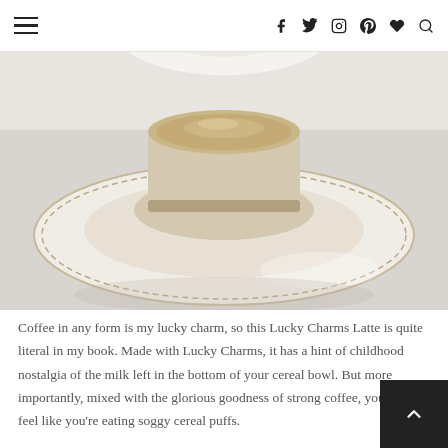Navigation header with hamburger menu and social icons (f, twitter, instagram, pinterest, heart, search)
[Figure (photo): A cup of latte on a decorative saucer plate, viewed from above, on a white surface]
Coffee in any form is my lucky charm, so this Lucky Charms Latte is quite literal in my book. Made with Lucky Charms, it has a hint of childhood nostalgia of the milk left in the bottom of your cereal bowl. But more importantly, mixed with the glorious goodness of strong coffee, you won't feel like you're eating soggy cereal puffs.
I don't really even like cereal that much, but Lucky Charms are the exception; especially around St. Patrick's Day. Plus I had to continue my streak of magically delicious treats made